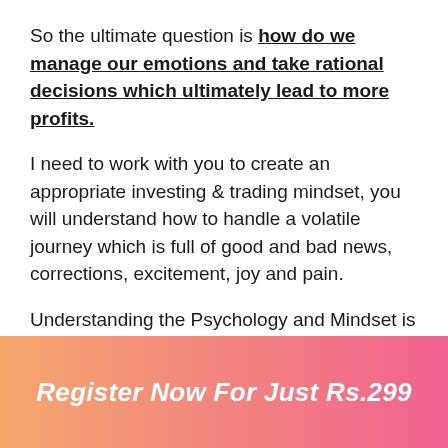So the ultimate question is how do we manage our emotions and take rational decisions which ultimately lead to more profits.
I need to work with you to create an appropriate investing & trading mindset, you will understand how to handle a volatile journey which is full of good and bad news, corrections, excitement, joy and pain.
Understanding the Psychology and Mindset is key. If you understand this you will 3x your existing profits or if you haven't started to invest/trade then you will start from an unfair advantage.
Register Now For Just Rs.299